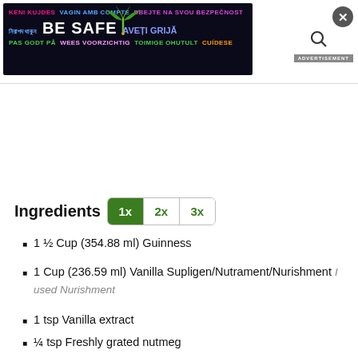[Figure (screenshot): Safety advertisement banner with multilingual 'BE SAFE' message on dark background]
Ingredients 1x 2x 3x
1 ½ Cup (354.88 ml) Guinness
1 Cup (236.59 ml) Vanilla Supligen/Nutrament/Nurishment I used Nurishment
1 tsp Vanilla extract
¼ tsp Freshly grated nutmeg